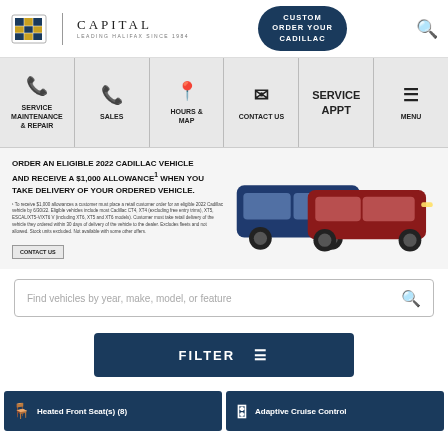[Figure (logo): Cadillac crest logo and Capital dealership wordmark with Custom Order Your Cadillac button and search icon]
[Figure (infographic): Navigation bar with icons: Service Maintenance & Repair (phone), Sales (phone), Hours & Map (location pin), Contact Us (envelope), Service Appt, Menu (hamburger)]
[Figure (photo): Banner promoting eligible 2022 Cadillac vehicle with $1,000 allowance when taking delivery of ordered vehicle, with two Cadillac SUVs (blue and red)]
Find vehicles by year, make, model, or feature
FILTER
Heated Front Seat(s) (8)
Adaptive Cruise Control